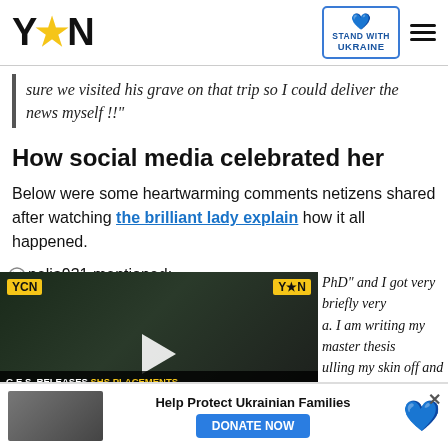YEN | STAND WITH UKRAINE
sure we visited his grave on that trip so I could deliver the news myself !!"
How social media celebrated her
Below were some heartwarming comments netizens shared after watching the brilliant lady explain how it all happened.
nelia931 mentioned:
[Figure (screenshot): YEN video player thumbnail showing a man with glasses, with caption: G.E.S. RELEASES SHS PLACEMENTS / FIRE GUTS ABOSSEY OKAI]
PhD" and I got very briefly very a. I am writing my master thesis ulling my skin off and when I nt she JUST get rejected for a EADY" I feel bad now
[Figure (screenshot): Ukraine ad banner: Help Protect Ukrainian Families DONATE NOW with heart logo and close button]